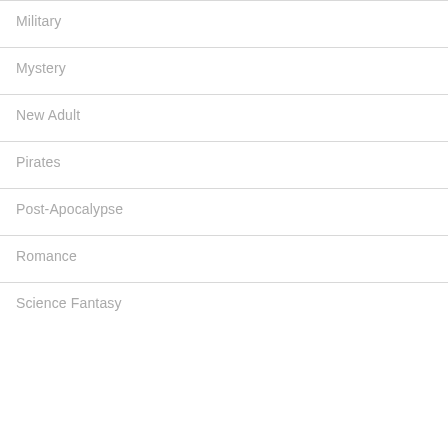Military
Mystery
New Adult
Pirates
Post-Apocalypse
Romance
Science Fantasy